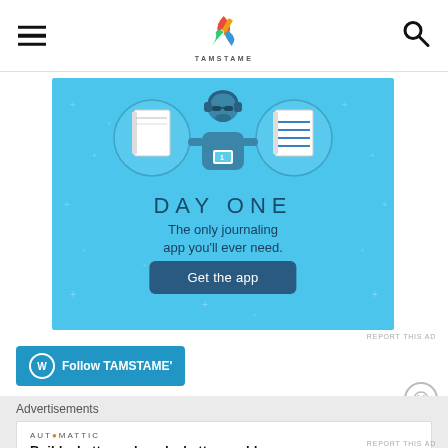TAMSTAME (logo/header with hamburger menu and search icon)
[Figure (illustration): Day One journaling app advertisement banner with light blue background. Shows illustrated person holding a phone with two notebook icons in circles. Text reads 'DAY ONE - The only journaling app you'll ever need.' with a 'Get the app' button.]
REPORT THIS AD
Follow TAMSTAME'
Advertisements
AUTOMATTIC
Build a better web and a better world.
REPORT THIS AD